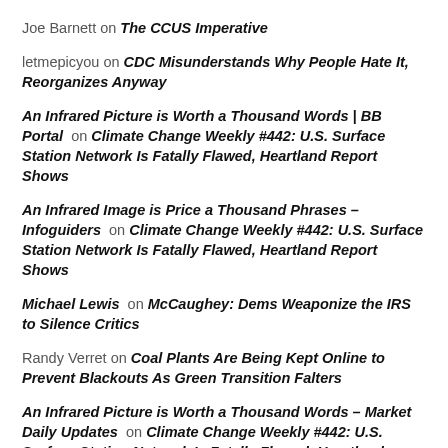Joe Barnett on The CCUS Imperative
letmepicyou on CDC Misunderstands Why People Hate It, Reorganizes Anyway
An Infrared Picture is Worth a Thousand Words | BB Portal on Climate Change Weekly #442: U.S. Surface Station Network Is Fatally Flawed, Heartland Report Shows
An Infrared Image is Price a Thousand Phrases – Infoguiders on Climate Change Weekly #442: U.S. Surface Station Network Is Fatally Flawed, Heartland Report Shows
Michael Lewis on McCaughey: Dems Weaponize the IRS to Silence Critics
Randy Verret on Coal Plants Are Being Kept Online to Prevent Blackouts As Green Transition Falters
An Infrared Picture is Worth a Thousand Words – Market Daily Updates on Climate Change Weekly #442: U.S. Surface Station Network Is Fatally Flawed, Heartland Report Shows